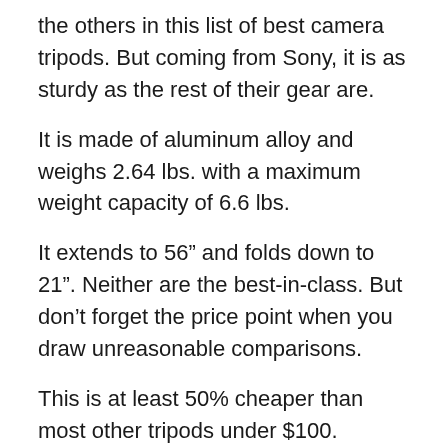the others in this list of best camera tripods. But coming from Sony, it is as sturdy as the rest of their gear are.
It is made of aluminum alloy and weighs 2.64 lbs. with a maximum weight capacity of 6.6 lbs.
It extends to 56” and folds down to 21”. Neither are the best-in-class. But don’t forget the price point when you draw unreasonable comparisons.
This is at least 50% cheaper than most other tripods under $100.
For the price, it is a very good tripod to buy.